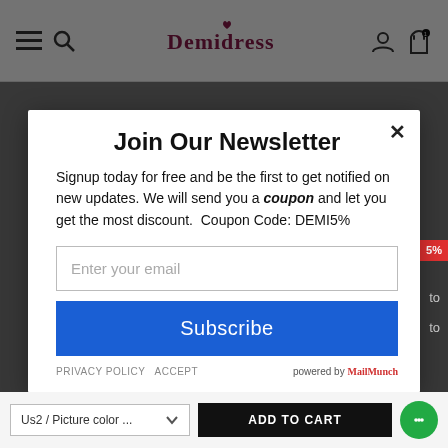Demidress
[Figure (screenshot): Demidress e-commerce website header with hamburger menu, search icon, Demidress logo in dark red, user account icon, and shopping bag icon]
Join Our Newsletter
Signup today for free and be the first to get notified on new updates. We will send you a coupon and let you get the most discount.  Coupon Code: DEMI5%
Enter your email
Subscribe
PRIVACY POLICY   ACCEPT   powered by MailMunch
Us2 / Picture color ...   ADD TO CART